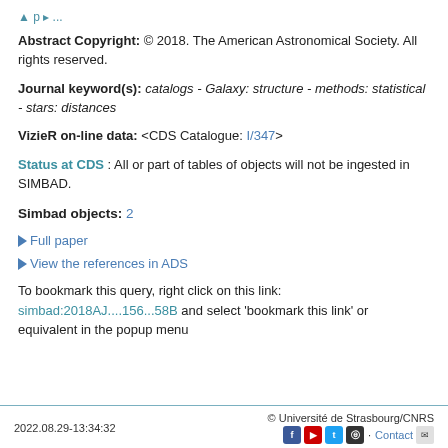Abstract Copyright: © 2018. The American Astronomical Society. All rights reserved.
Journal keyword(s): catalogs - Galaxy: structure - methods: statistical - stars: distances
VizieR on-line data: <CDS Catalogue: I/347>
Status at CDS : All or part of tables of objects will not be ingested in SIMBAD.
Simbad objects: 2
Full paper
View the references in ADS
To bookmark this query, right click on this link: simbad:2018AJ....156...58B and select 'bookmark this link' or equivalent in the popup menu
2022.08.29-13:34:32  © Université de Strasbourg/CNRS  Contact